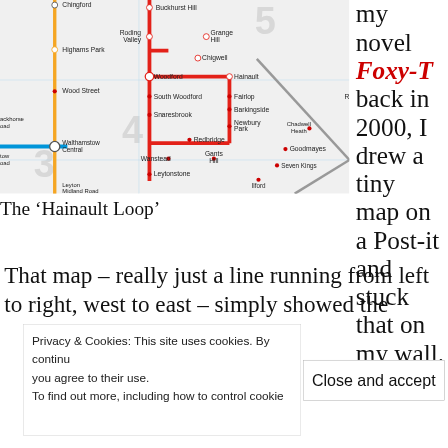[Figure (map): London Underground map excerpt showing the Hainault Loop area with stations including Chingford, Buckhurst Hill, Roding Valley, Grange Hill, Highams Park, Chigwell, Woodford, Hainault, Wood Street, South Woodford, Fairlop, Snaresbrook, Barkingside, Newbury Park, Chadwell Heath, Walthamstow Central, Redbridge, Goodmayes, Wanstead, Gants Hill, Seven Kings, Leytonstone, Leyton Midland Road, Ilford. Shows red loop line for Hainault, blue and yellow Central/Victoria lines.]
my novel Foxy-T back in 2000, I drew a tiny map on a Post-it and stuck that on my wall.
The ‘Hainault Loop’
That map – really just a line running from left to right, west to east – simply showed the
Privacy & Cookies: This site uses cookies. By continuing to use this website, you agree to their use.
To find out more, including how to control cookies,
Close and accept
for a few weeks I finally noticed that it looked a